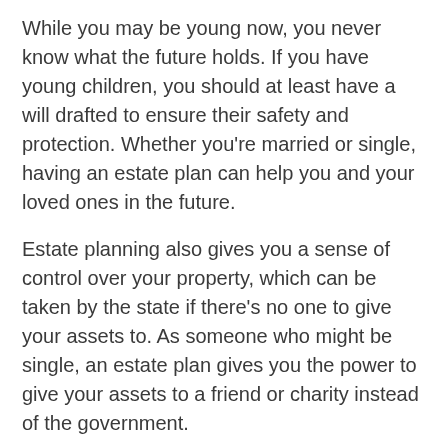While you may be young now, you never know what the future holds. If you have young children, you should at least have a will drafted to ensure their safety and protection. Whether you're married or single, having an estate plan can help you and your loved ones in the future.
Estate planning also gives you a sense of control over your property, which can be taken by the state if there's no one to give your assets to. As someone who might be single, an estate plan gives you the power to give your assets to a friend or charity instead of the government.
| # | Search Result |  |
| --- | --- | --- |
| 1. | HOUSES FOR RENT BY OWNER NEAR ME | → |
| 2. | BANK FORECLOSURE LISTINGS | → |